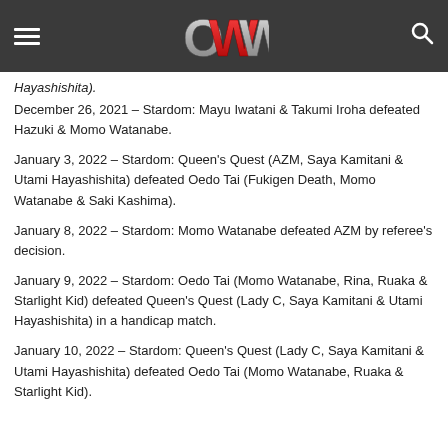OWW logo navigation header
Hayashishita).
December 26, 2021 – Stardom: Mayu Iwatani & Takumi Iroha defeated Hazuki & Momo Watanabe.
January 3, 2022 – Stardom: Queen's Quest (AZM, Saya Kamitani & Utami Hayashishita) defeated Oedo Tai (Fukigen Death, Momo Watanabe & Saki Kashima).
January 8, 2022 – Stardom: Momo Watanabe defeated AZM by referee's decision.
January 9, 2022 – Stardom: Oedo Tai (Momo Watanabe, Rina, Ruaka & Starlight Kid) defeated Queen's Quest (Lady C, Saya Kamitani & Utami Hayashishita) in a handicap match.
January 10, 2022 – Stardom: Queen's Quest (Lady C, Saya Kamitani & Utami Hayashishita) defeated Oedo Tai (Momo Watanabe, Ruaka & Starlight Kid).